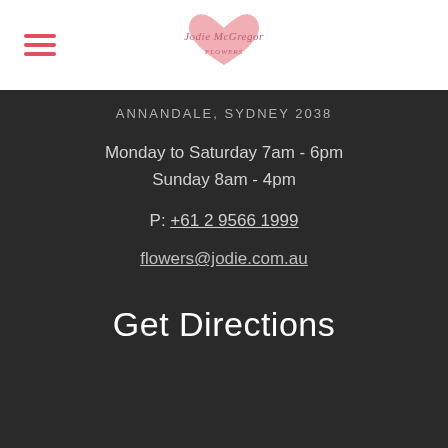[Figure (logo): Jodie McGregor Flowers script logo with pink heart]
ANNANDALE, SYDNEY 2038
Monday to Saturday 7am - 6pm
Sunday 8am - 4pm
P: +61 2 9566 1999
flowers@jodie.com.au
Get Directions